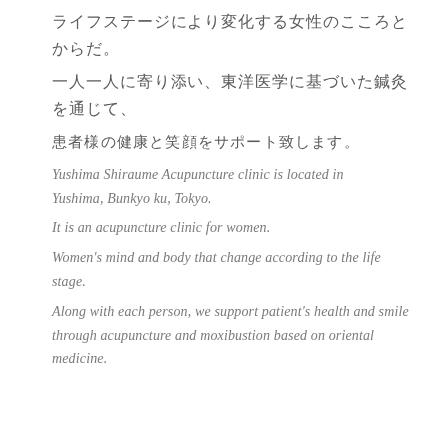ライフステージにより変化する女性のこころとからだ。
一人一人に寄り添い、東洋医学に基づいた鍼灸を通じて、
患者様の健康と笑顔をサポート致します。
Yushima Shiraume Acupuncture clinic is located in Yushima, Bunkyo ku, Tokyo.
It is an acupuncture clinic for women.
Women's mind and body that change according to the life stage.
Along with each person, we support patient's health and smile through acupuncture and moxibustion based on oriental medicine.